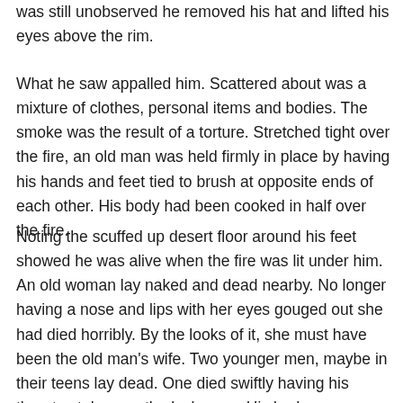was still unobserved he removed his hat and lifted his eyes above the rim.
What he saw appalled him. Scattered about was a mixture of clothes, personal items and bodies. The smoke was the result of a torture. Stretched tight over the fire, an old man was held firmly in place by having his hands and feet tied to brush at opposite ends of each other. His body had been cooked in half over the fire.
Noting the scuffed up desert floor around his feet showed he was alive when the fire was lit under him. An old woman lay naked and dead nearby. No longer having a nose and lips with her eyes gouged out she had died horribly. By the looks of it, she must have been the old man's wife. Two younger men, maybe in their teens lay dead. One died swiftly having his throat cut, he was the lucky one. His body was away from the others as if he was